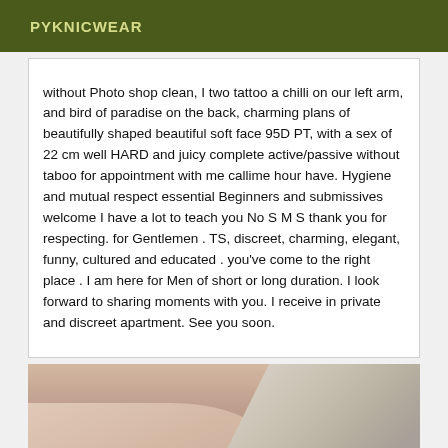PYKNICWEAR
without Photo shop clean, I two tattoo a chilli on our left arm, and bird of paradise on the back, charming plans of beautifully shaped beautiful soft face 95D PT, with a sex of 22 cm well HARD and juicy complete active/passive without taboo for appointment with me callime hour have. Hygiene and mutual respect essential Beginners and submissives welcome I have a lot to teach you No S M S thank you for respecting. for Gentlemen . TS, discreet, charming, elegant, funny, cultured and educated . you've come to the right place . I am here for Men of short or long duration. I look forward to sharing moments with you. I receive in private and discreet apartment. See you soon.
[Figure (photo): Close-up photo of a person with blonde/white hair, skin visible, cropped at the bottom of the page.]